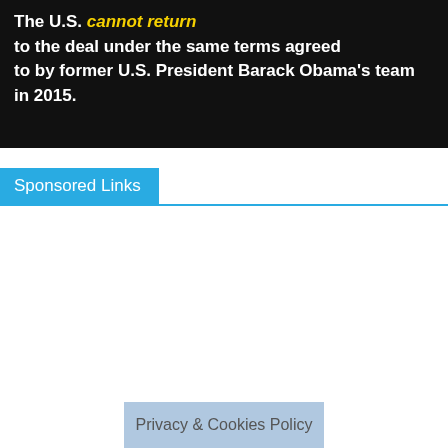[Figure (screenshot): Dark background image with bold white text reading 'The U.S. cannot return to the deal under the same terms agreed to by former U.S. President Barack Obama's team in 2015.' The phrase 'cannot return' is highlighted in yellow italic text.]
Sponsored Links
Privacy & Cookies Policy